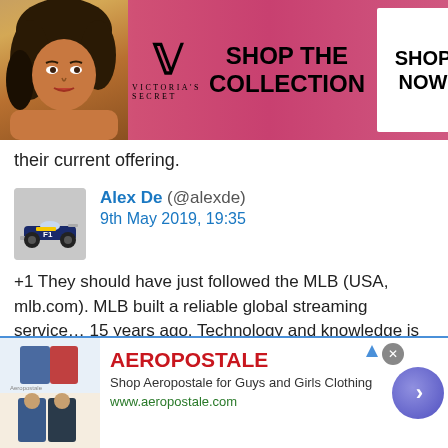[Figure (photo): Victoria's Secret advertisement banner showing a woman with curly hair, the VS logo, 'SHOP THE COLLECTION' text, and a 'SHOP NOW' button]
their current offering.
[Figure (photo): Avatar image showing a Formula 1 race car]
Alex De (@alexde)
9th May 2019, 19:35
+1 They should have just followed the MLB (USA, mlb.com). MLB built a reliable global streaming service… 15 years ago. Technology and knowledge is available. Indian outsourcing is different matter.
[Figure (photo): Avatar image showing a windmill in the Netherlands landscape]
BasCB (@bascb)
10th May 2019, 20:41
[Figure (photo): Aeropostale advertisement banner showing clothing items, brand name, description and website URL]